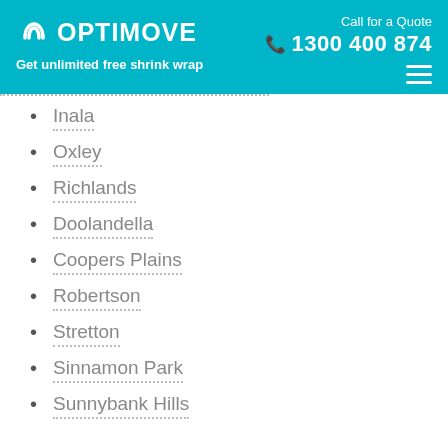OPTIMOVE — Get unlimited free shrink wrap | Call for a Quote 1300 400 874
Inala
Oxley
Richlands
Doolandella
Coopers Plains
Robertson
Stretton
Sinnamon Park
Sunnybank Hills